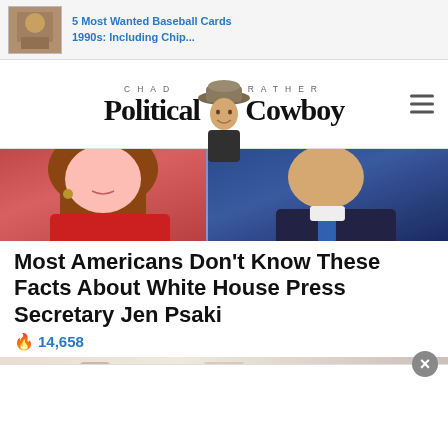[Figure (screenshot): Advertisement bar with thumbnail image and text '5 Most Wanted Baseball Cards 1990s: Including Chip...' in blue]
[Figure (logo): Chad Prather Political Cowboy website logo with cowboy photo in center]
[Figure (photo): Hero image split: woman in red on left, man in blue suit on right]
Most Americans Don't Know These Facts About White House Press Secretary Jen Psaki
🔥 14,658
[Figure (photo): Partial preview of next article image]
[Figure (screenshot): Bottom advertisement overlay with close button]